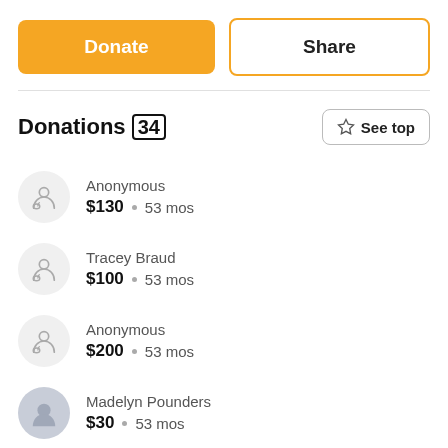Donate
Share
Donations (34)
See top
Anonymous · $130 · 53 mos
Tracey Braud · $100 · 53 mos
Anonymous · $200 · 53 mos
Madelyn Pounders · $30 · 53 mos